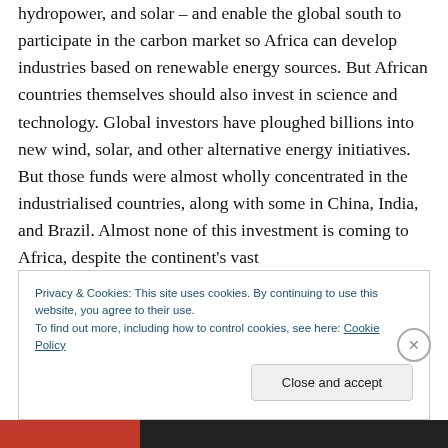hydropower, and solar – and enable the global south to participate in the carbon market so Africa can develop industries based on renewable energy sources. But African countries themselves should also invest in science and technology. Global investors have ploughed billions into new wind, solar, and other alternative energy initiatives. But those funds were almost wholly concentrated in the industrialised countries, along with some in China, India, and Brazil. Almost none of this investment is coming to Africa, despite the continent's vast
Privacy & Cookies: This site uses cookies. By continuing to use this website, you agree to their use.
To find out more, including how to control cookies, see here: Cookie Policy